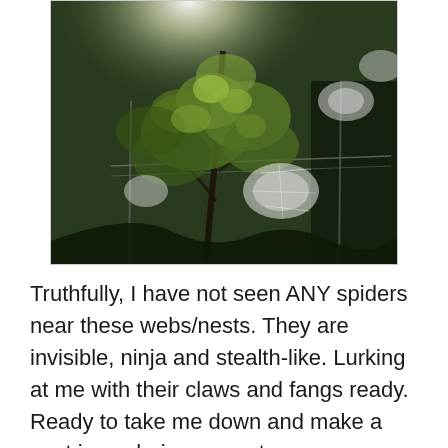[Figure (photo): Outdoor photo of a tree with green leaves and multiple large spider webs/nests visible, with a fence in the background. Bright light from the top.]
Truthfully, I have not seen ANY spiders near these webs/nests. They are invisible, ninja and stealth-like. Lurking at me with their claws and fangs ready. Ready to take me down and make a nest in my hair, procreate